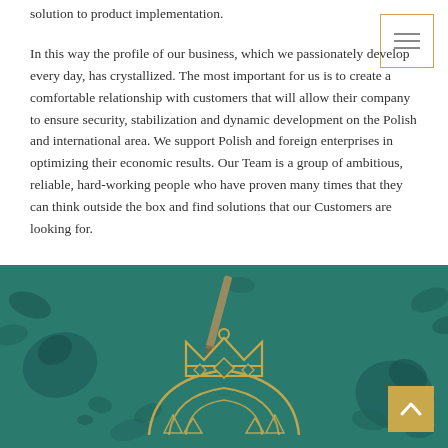solution to product implementation.
In this way the profile of our business, which we passionately develop every day, has crystallized. The most important for us is to create a comfortable relationship with customers that will allow their company to ensure security, stabilization and dynamic development on the Polish and international area. We support Polish and foreign enterprises in optimizing their economic results. Our Team is a group of ambitious, reliable, hard-working people who have proven many times that they can think outside the box and find solutions that our Customers are looking for.
[Figure (illustration): Teal/dark green background with floral elements (roses, leaves) and a gold crown/logo emblem centered at the bottom of the image area.]